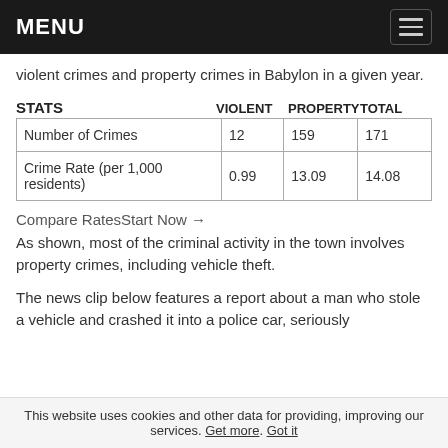MENU
violent crimes and property crimes in Babylon in a given year.
| STATS | VIOLENT | PROPERTY | TOTAL |
| --- | --- | --- | --- |
| Number of Crimes | 12 | 159 | 171 |
| Crime Rate (per 1,000 residents) | 0.99 | 13.09 | 14.08 |
Compare RatesStart Now →
As shown, most of the criminal activity in the town involves property crimes, including vehicle theft.
The news clip below features a report about a man who stole a vehicle and crashed it into a police car, seriously
This website uses cookies and other data for providing, improving our services. Get more. Got it